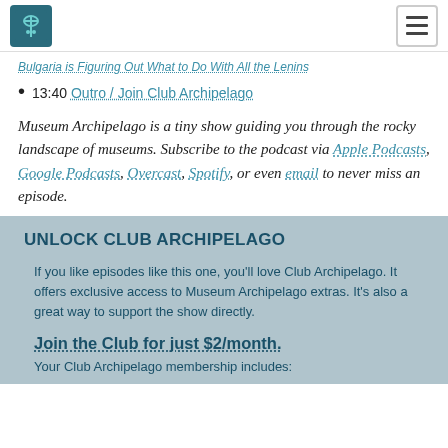Museum Archipelago logo and navigation menu
Bulgaria is Figuring Out What to Do With All the Lenins (partial, clipped at top)
13:40 Outro / Join Club Archipelago
Museum Archipelago is a tiny show guiding you through the rocky landscape of museums. Subscribe to the podcast via Apple Podcasts, Google Podcasts, Overcast, Spotify, or even email to never miss an episode.
UNLOCK CLUB ARCHIPELAGO
If you like episodes like this one, you'll love Club Archipelago. It offers exclusive access to Museum Archipelago extras. It's also a great way to support the show directly.
Join the Club for just $2/month.
Your Club Archipelago membership includes: